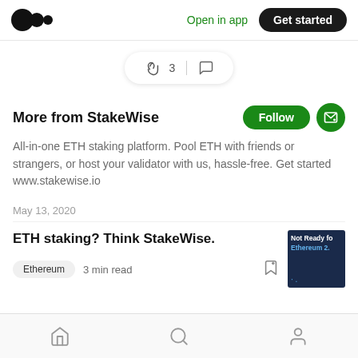Medium app header with logo, Open in app link, Get started button
[Figure (other): Clap and comment interaction bar showing 3 claps and a comment icon]
More from StakeWise
All-in-one ETH staking platform. Pool ETH with friends or strangers, or host your validator with us, hassle-free. Get started www.stakewise.io
May 13, 2020
ETH staking? Think StakeWise.
Ethereum  3 min read
[Figure (screenshot): Article thumbnail showing dark blue background with text 'Not Ready for Ethereum 2.']
Bottom navigation bar with home, search, and profile icons